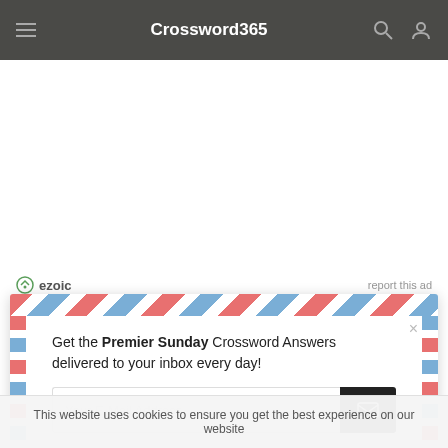Crossword365
[Figure (screenshot): Ezoic ad label with logo and 'report this ad' link]
[Figure (screenshot): Popup email subscription box with airmail border design. Text: 'Get the Premier Sunday Crossword Answers delivered to your inbox every day!' with email input field and submit button. Close button (×) in top right.]
This website uses cookies to ensure you get the best experience on our website